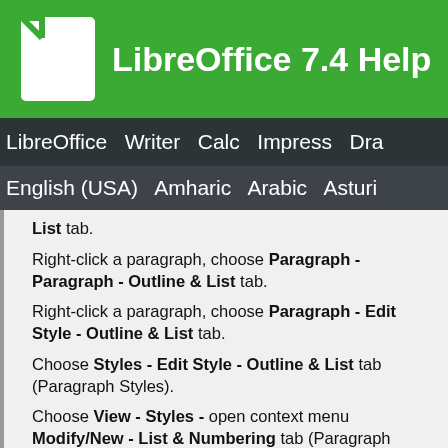LibreOffice 7.4 Help
LibreOffice Writer Calc Impress Draw
English (USA) Amharic Arabic Asturian
List tab.
Right-click a paragraph, choose Paragraph - Paragraph - Outline & List tab.
Right-click a paragraph, choose Paragraph - Edit Style - Outline & List tab.
Choose Styles - Edit Style - Outline & List tab (Paragraph Styles).
Choose View - Styles - open context menu Modify/New - List & Numbering tab (Paragraph Styles).